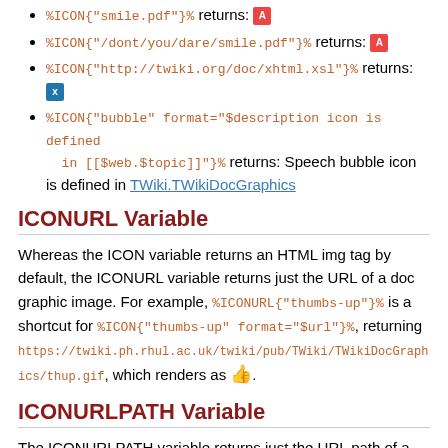%ICON{"smile.pdf"}% returns: [pdf icon]
%ICON{"/dont/you/dare/smile.pdf"}% returns: [pdf icon]
%ICON{"http://twiki.org/doc/xhtml.xsl"}% returns: [xsl icon]
%ICON{"bubble" format="$description icon is defined in [[$web.$topic]]"}% returns: Speech bubble icon is defined in TWiki.TWikiDocGraphics
ICONURL Variable
Whereas the ICON variable returns an HTML img tag by default, the ICONURL variable returns just the URL of a doc graphic image. For example, %ICONURL{"thumbs-up"}% is a shortcut for %ICON{"thumbs-up" format="$url"}%, returning https://twiki.ph.rhul.ac.uk/twiki/pub/TWiki/TWikiDocGraphics/thumbs-up.gif, which renders as 👍.
ICONURLPATH Variable
The ICONURLPATH variable returns just the URL path of a doc graphic image. For example, %ICONURLPATH{"thumbs-up"}% is a shortcut for %ICON{"thumbs-up" format="$urlpath"}%,